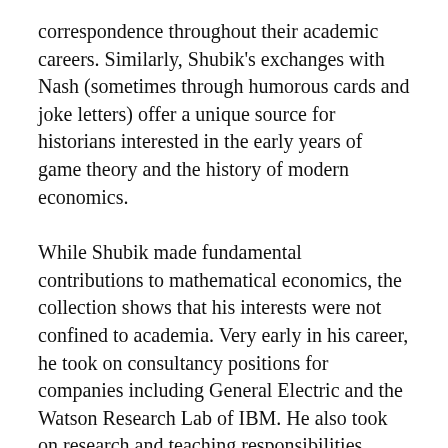correspondence throughout their academic careers. Similarly, Shubik's exchanges with Nash (sometimes through humorous cards and joke letters) offer a unique source for historians interested in the early years of game theory and the history of modern economics.
While Shubik made fundamental contributions to mathematical economics, the collection shows that his interests were not confined to academia. Very early in his career, he took on consultancy positions for companies including General Electric and the Watson Research Lab of IBM. He also took on research and teaching responsibilities outside of the U.S., participating in projects such as the Cowles Commission's research on simulation modeling in Latin America. The collection also contains a large amount of correspondence, trip reports,